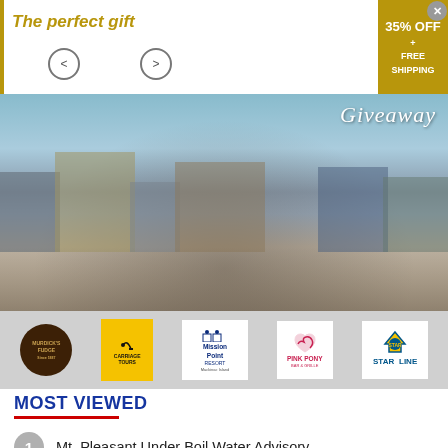[Figure (infographic): Advertisement banner with 'The perfect gift' text in gold italic, left/right navigation arrows, and a gold box showing '35% OFF + FREE SHIPPING'. Below is a street scene photo of Mackinac Island with a 'Giveaway' script overlay and sponsor logos: Murdick's Fudge, Carriage Tours, Mission Point Resort, Pink Pony, Star Line.]
MOST VIEWED
Mt. Pleasant Under Boil Water Advisory
Disturbing New Details Revealed in Petoskey Sex Crimes Case